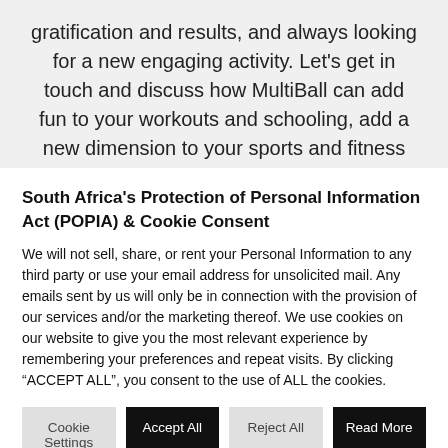gratification and results, and always looking for a new engaging activity. Let's get in touch and discuss how MultiBall can add fun to your workouts and schooling, add a new dimension to your sports and fitness training, or create a
South Africa's Protection of Personal Information Act (POPIA) & Cookie Consent
We will not sell, share, or rent your Personal Information to any third party or use your email address for unsolicited mail. Any emails sent by us will only be in connection with the provision of our services and/or the marketing thereof. We use cookies on our website to give you the most relevant experience by remembering your preferences and repeat visits. By clicking “ACCEPT ALL”, you consent to the use of ALL the cookies.
Cookie Settings | Accept All | Reject All | Read More